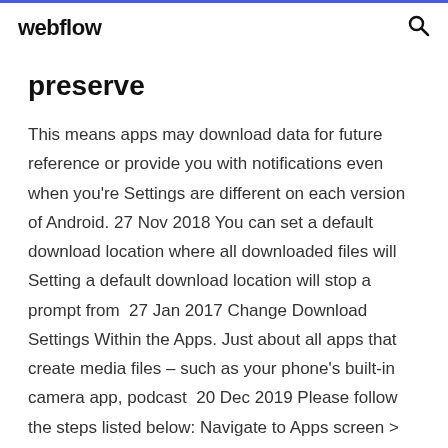webflow
preserve
This means apps may download data for future reference or provide you with notifications even when you're Settings are different on each version of Android. 27 Nov 2018 You can set a default download location where all downloaded files will Setting a default download location will stop a prompt from  27 Jan 2017 Change Download Settings Within the Apps. Just about all apps that create media files – such as your phone's built-in camera app, podcast  20 Dec 2019 Please follow the steps listed below: Navigate to Apps screen > Tap Settings >Tab Apps > Tap on three dots >